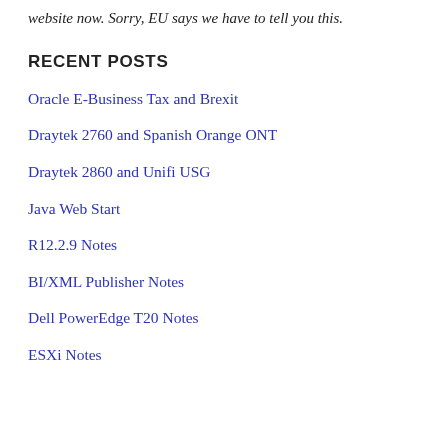website now. Sorry, EU says we have to tell you this.
RECENT POSTS
Oracle E-Business Tax and Brexit
Draytek 2760 and Spanish Orange ONT
Draytek 2860 and Unifi USG
Java Web Start
R12.2.9 Notes
BI/XML Publisher Notes
Dell PowerEdge T20 Notes
ESXi Notes